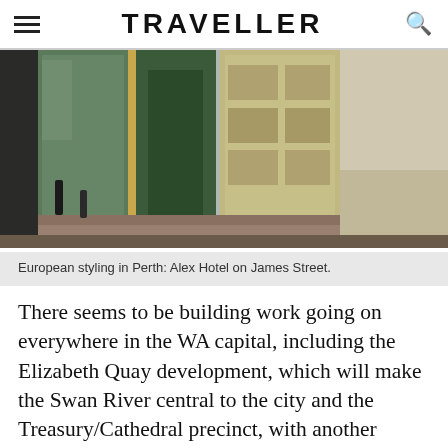TRAVELLER
[Figure (photo): Street-level photo of Alex Hotel on James Street, Perth, showing European-styled building facade with glass and timber elements, looking down an urban laneway.]
European styling in Perth: Alex Hotel on James Street.
There seems to be building work going on everywhere in the WA capital, including the Elizabeth Quay development, which will make the Swan River central to the city and the Treasury/Cathedral precinct, with another boutique
SHARE